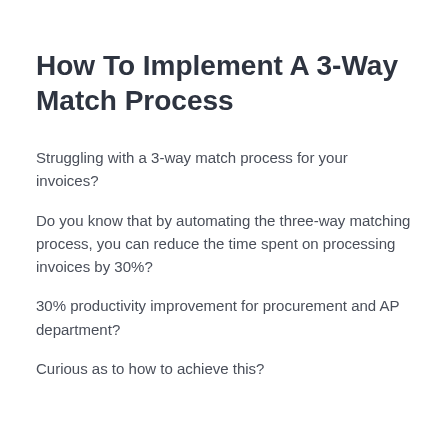How To Implement A 3-Way Match Process
Struggling with a 3-way match process for your invoices?
Do you know that by automating the three-way matching process, you can reduce the time spent on processing invoices by 30%?
30% productivity improvement for procurement and AP department?
Curious as to how to achieve this?